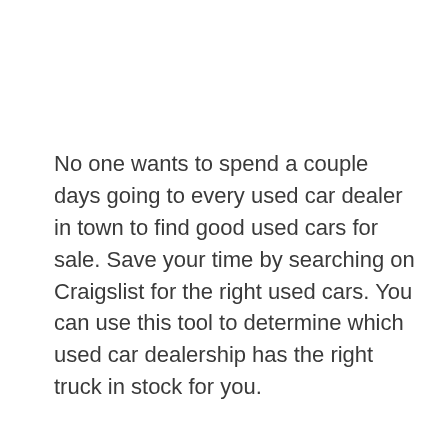No one wants to spend a couple days going to every used car dealer in town to find good used cars for sale. Save your time by searching on Craigslist for the right used cars. You can use this tool to determine which used car dealership has the right truck in stock for you.